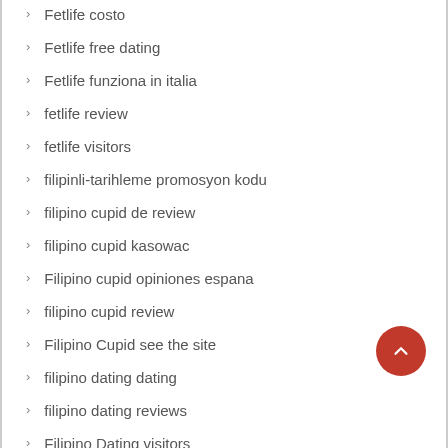Fetlife costo
Fetlife free dating
Fetlife funziona in italia
fetlife review
fetlife visitors
filipinli-tarihleme promosyon kodu
filipino cupid de review
filipino cupid kasowac
Filipino cupid opiniones espana
filipino cupid review
Filipino Cupid see the site
filipino dating dating
filipino dating reviews
Filipino Dating visitors
filipinocupid connexion
filipinocupid review